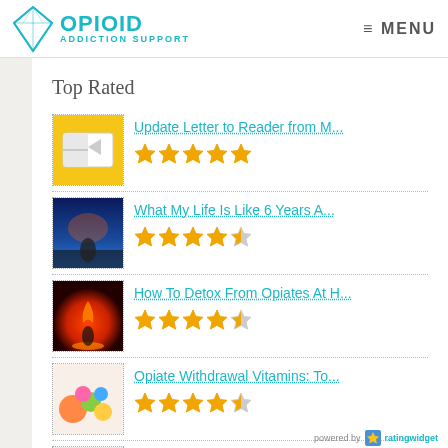[Figure (logo): Opioid Addiction Support logo with teal diamond/triangle shape and bold teal text]
≡ MENU
Top Rated
Update Letter to Reader from M... ★★★★★
What My Life Is Like 6 Years A... ★★★★½
How To Detox From Opiates At H... ★★★★½
Opiate Withdrawal Vitamins: To... ★★★★½
How To Use CBD Oil For Opiate... ★★★★½
powered by ratingwidget